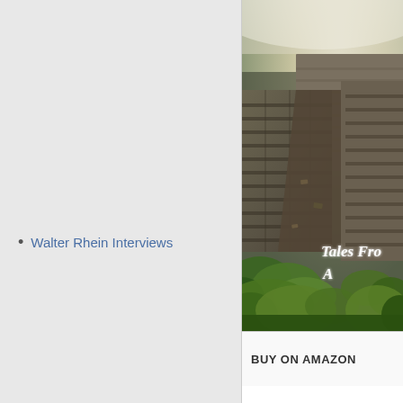Walter Rhein Interviews
[Figure (photo): Book cover photo showing ancient stone ruins with lush green vegetation and misty atmospheric lighting. Text overlay reads 'Tales Fro... A...' partially visible. Button below reads 'BUY ON AMAZON'.]
BUY ON AMAZON